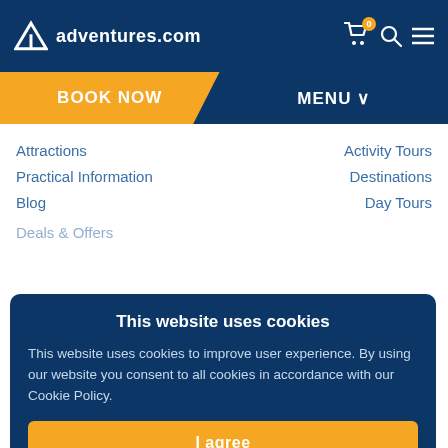adventures.com
BOOK NOW
MENU ▾
Attractions
Activity Tours
Practical Information
Destinations
Blog
Day Tours
Deals & Offers
This website uses cookies
This website uses cookies to improve user experience. By using our website you consent to all cookies in accordance with our Cookie Policy.
I agree
I disagree
Read more
Opening Hours for Canada tours:
52509 Range Rd 192
Beaver County, AB T0B 4I5